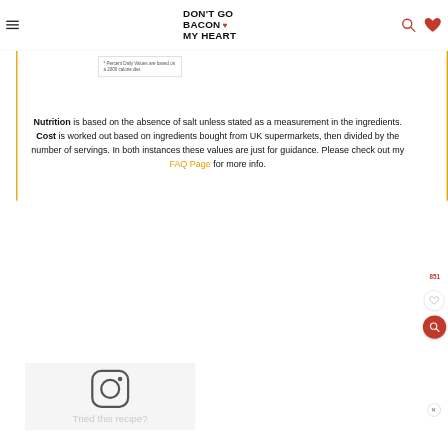DON'T GO BACON MY HEART
* Percent Daily Values are based on a 2000 calorie diet.
Nutrition is based on the absence of salt unless stated as a measurement in the ingredients. Cost is worked out based on ingredients bought from UK supermarkets, then divided by the number of servings. In both instances these values are just for guidance. Please check out my FAQ Page for more info.
[Figure (illustration): Instagram logo icon (rounded square with camera outline)]
Tried this recipe?